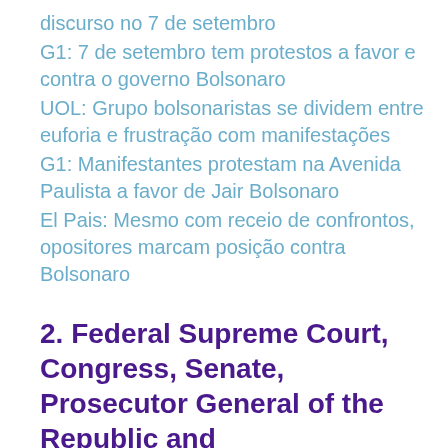discurso no 7 de setembro
G1: 7 de setembro tem protestos a favor e contra o governo Bolsonaro
UOL: Grupo bolsonaristas se dividem entre euforia e frustração com manifestações
G1: Manifestantes protestam na Avenida Paulista a favor de Jair Bolsonaro
El Pais: Mesmo com receio de confrontos, opositores marcam posição contra Bolsonaro
2. Federal Supreme Court, Congress, Senate, Prosecutor General of the Republic and